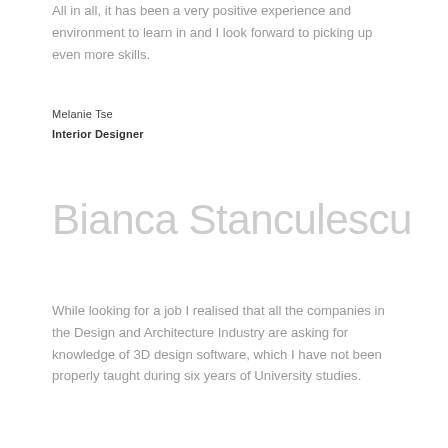All in all, it has been a very positive experience and environment to learn in and I look forward to picking up even more skills.
Melanie Tse
Interior Designer
Bianca Stanculescu
While looking for a job I realised that all the companies in the Design and Architecture Industry are asking for knowledge of 3D design software, which I have not been properly taught during six years of University studies.